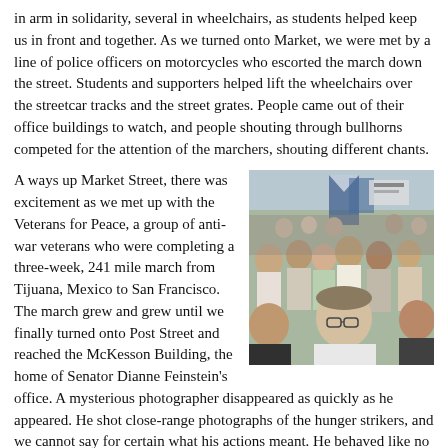in arm in solidarity, several in wheelchairs, as students helped keep us in front and together. As we turned onto Market, we were met by a line of police officers on motorcycles who escorted the march down the street. Students and supporters helped lift the wheelchairs over the streetcar tracks and the street grates. People came out of their office buildings to watch, and people shouting through bullhorns competed for the attention of the marchers, shouting different chants.
A ways up Market Street, there was excitement as we met up with the Veterans for Peace, a group of anti-war veterans who were completing a three-week, 241 mile march from Tijuana, Mexico to San Francisco. The march grew and grew until we finally turned onto Post Street and reached the McKesson Building, the home of Senator Dianne Feinstein's office. A mysterious photographer disappeared as quickly as he appeared. He shot close-range photographs of the hunger strikers, and we cannot say for certain what his actions meant. He behaved like no other photographer, and this got us questioning who he could be, suspicious of government surveillance of our march. But then we arrived at One Post Street, where the rally would begin, and as we
[Figure (photo): A large crowd of protesters marching, with flags and signs visible, taken from within the crowd. People of various ages are visible, with a man in sunglasses and white shirt in the foreground.]